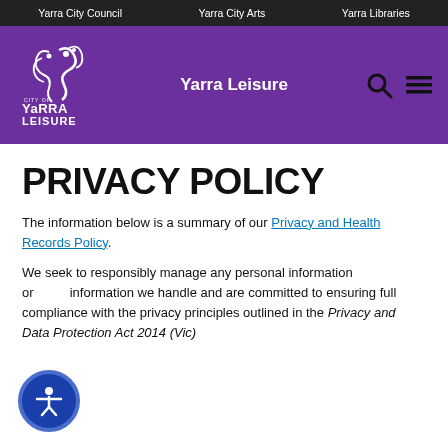Yarra City Council   Yarra City Arts   Yarra Libraries
[Figure (logo): City of Yarra Leisure logo — white graphic with stylized figure and text 'CITY OF YARRA LEISURE' on purple background]
PRIVACY POLICY
The information below is a summary of our Privacy and Health Records Policy.
We seek to responsibly manage any personal information or information we handle and are committed to ensuring full compliance with the privacy principles outlined in the Privacy and Data Protection Act 2014 (Vic)